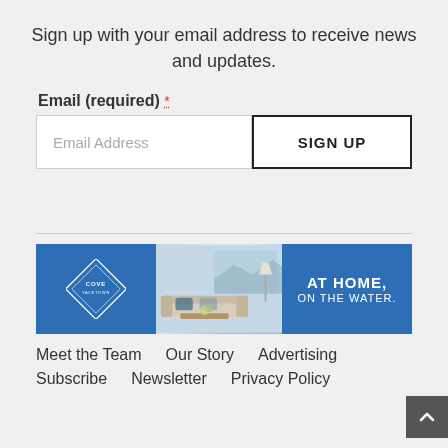Sign up with your email address to receive news and updates.
Email (required) *
[Figure (screenshot): Email signup form with an email address input field and a SIGN UP button]
[Figure (advertisement): Cove Yaletown real estate ad banner: diamond logo on blue left, interior living room photo in center, 'AT HOME, ON THE WATER.' text on blue right]
Meet the Team   Our Story   Advertising
Subscribe   Newsletter   Privacy Policy